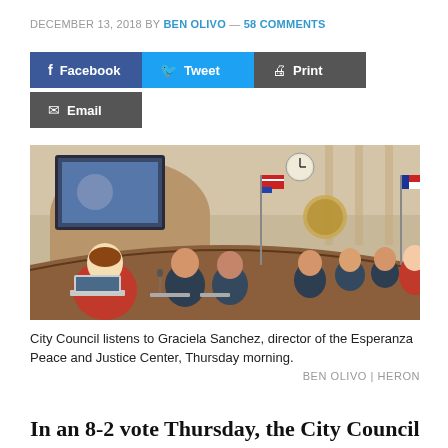DECEMBER 13, 2018 BY BEN OLIVO — 58 COMMENTS
[Figure (photo): City Council chamber with council members seated at curved wooden dais, American flag and city seal visible, woman in red jacket in foreground looking at laptop]
City Council listens to Graciela Sanchez, director of the Esperanza Peace and Justice Center, Thursday morning.
BEN OLIVO | HERON
In an 8-2 vote Thursday, the City Council